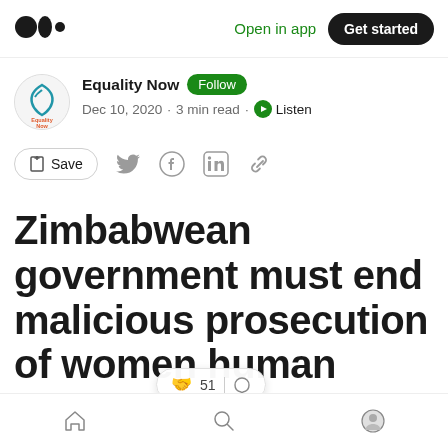Medium logo | Open in app | Get started
Equality Now · Follow · Dec 10, 2020 · 3 min read · Listen
Save
Zimbabwean government must end malicious prosecution of women human rights defenders
Home | Search | Profile